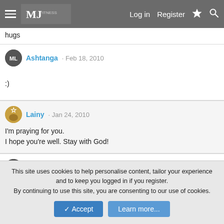Log in  Register
hugs
Ashtanga · Feb 18, 2010

:)
Lainy · Jan 24, 2010
I'm praying for you.
I hope you're well. Stay with God!
Ashtanga · Dec 14, 2009
This site uses cookies to help personalise content, tailor your experience and to keep you logged in if you register.
By continuing to use this site, you are consenting to our use of cookies.